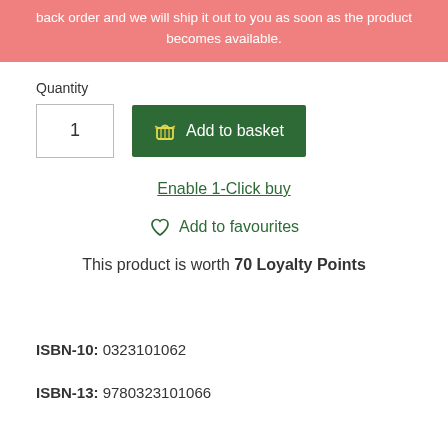back order and we will ship it out to you as soon as the product becomes available.
Quantity
1
Add to basket
Enable 1-Click buy
Add to favourites
This product is worth 70 Loyalty Points
ISBN-10: 0323101062
ISBN-13: 9780323101066